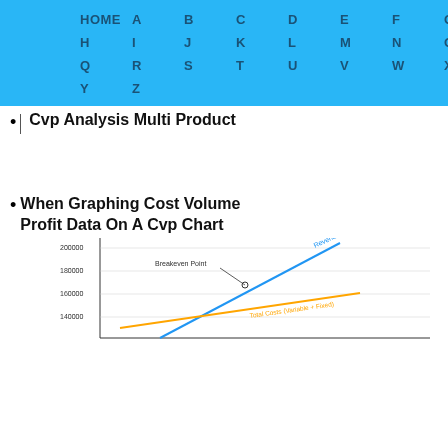HOME A B C D E F G H I J K L M N O P Q R S T U V W X Y Z
Cvp Analysis Multi Product
When Graphing Cost Volume Profit Data On A Cvp Chart
[Figure (continuous-plot): CVP chart showing Breakeven Point, Revenue line, and Total Costs (Variable + Fixed) line. Y-axis shows values from 140000 to 200000. Lines intersect at breakeven point.]